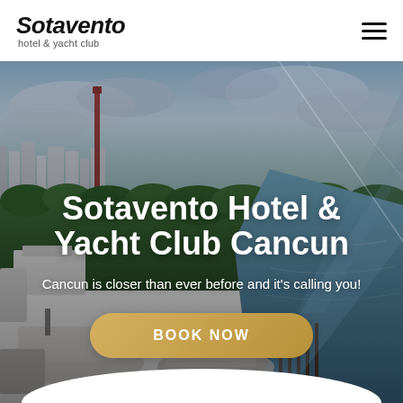Sotavento hotel & yacht club
[Figure (photo): Aerial photograph of Sotavento Hotel & Yacht Club in Cancun, showing marina with yachts, canal waterway, tropical greenery, city skyline in background under cloudy sky. Decorative diagonal geometric overlays visible on upper right portion of image.]
Sotavento Hotel & Yacht Club Cancun
Cancun is closer than ever before and it's calling you!
BOOK NOW